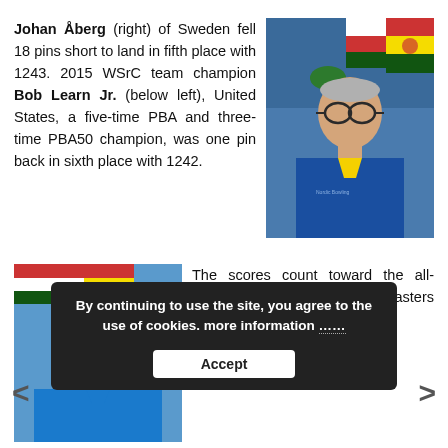Johan Åberg (right) of Sweden fell 18 pins short to land in fifth place with 1243. 2015 WSrC team champion Bob Learn Jr. (below left), United States, a five-time PBA and three-time PBA50 champion, was one pin back in sixth place with 1242.
[Figure (photo): Photo of Johan Åberg, a man wearing glasses and a blue and yellow bowling shirt, with colorful painted flags in the background.]
[Figure (photo): Photo of Bob Learn Jr., a smiling bald man in a blue bowling shirt, with colorful painted flags in the background.]
The scores count toward the all-events total with the top the masters conclud ps next Su
By continuing to use the site, you agree to the use of cookies. more information
Accept